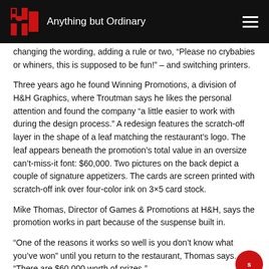H&H — Anything but Ordinary
changing the wording, adding a rule or two, “Please no crybabies or whiners, this is supposed to be fun!” – and switching printers.
Three years ago he found Winning Promotions, a division of H&H Graphics, where Troutman says he likes the personal attention and found the company “a little easier to work with during the design process.” A redesign features the scratch-off layer in the shape of a leaf matching the restaurant’s logo. The leaf appears beneath the promotion’s total value in an oversize can’t-miss-it font: $60,000. Two pictures on the back depict a couple of signature appetizers. The cards are screen printed with scratch-off ink over four-color ink on 3×5 card stock.
Mike Thomas, Director of Games & Promotions at H&H, says the promotion works in part because of the suspense built in.
“One of the reasons it works so well is you don’t know what you’ve won” until you return to the restaurant, Thomas says. “There are $60,000 worth of prizes.”